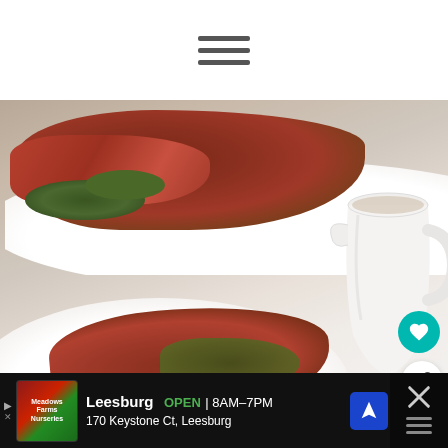[Figure (other): Hamburger/menu icon with three horizontal lines]
[Figure (photo): Food photography showing a roast beef or lamb dish on a white platter with green garnishes and a white gravy/sauce jug, with a sliced portion on a white plate in the foreground]
[Figure (other): Advertisement banner showing Meadows Farms Nurseries business ad: Leesburg, OPEN 8AM-7PM, 170 Keystone Ct, Leesburg, with a blue navigation arrow icon and a close button with X mark]